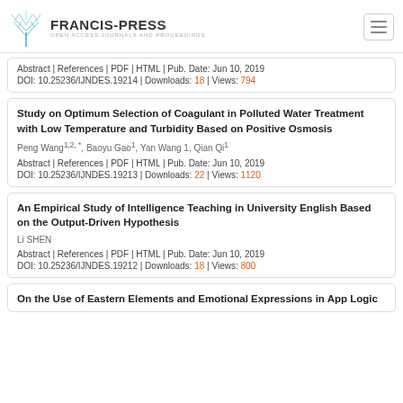FRANCIS-PRESS — Open Access Journals and Proceedings
Abstract | References | PDF | HTML | Pub. Date: Jun 10, 2019
DOI: 10.25236/IJNDES.19214 | Downloads: 18 | Views: 794
Study on Optimum Selection of Coagulant in Polluted Water Treatment with Low Temperature and Turbidity Based on Positive Osmosis
Peng Wang1,2, *, Baoyu Gao1, Yan Wang 1, Qian Qi1
Abstract | References | PDF | HTML | Pub. Date: Jun 10, 2019
DOI: 10.25236/IJNDES.19213 | Downloads: 22 | Views: 1120
An Empirical Study of Intelligence Teaching in University English Based on the Output-Driven Hypothesis
Li SHEN
Abstract | References | PDF | HTML | Pub. Date: Jun 10, 2019
DOI: 10.25236/IJNDES.19212 | Downloads: 18 | Views: 800
On the Use of Eastern Elements and Emotional Expressions in App Logic